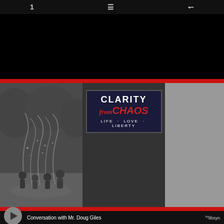1  ☰  share
[Figure (illustration): Clarity from CHAOS podcast banner image with three panels: left panel shows children playing in water fountains (black and white photo), center panel shows a couple sitting on grass with a logo overlay reading 'CLARITY from CHAOS - LIFE · LOVE · LIBERTY' on dark navy background, right panel shows American flags at a monument (black and white photo)]
Conversation with Mr. Doug Giles   libsyn